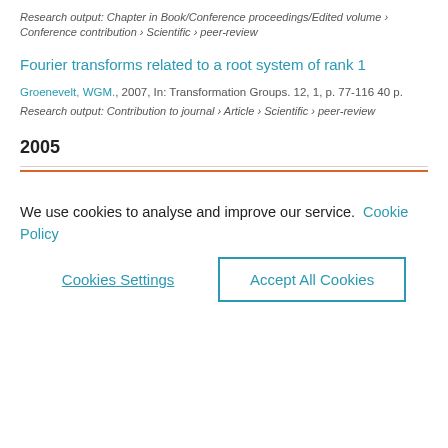Research output: Chapter in Book/Conference proceedings/Edited volume › Conference contribution › Scientific › peer-review
Fourier transforms related to a root system of rank 1
Groenevelt, WGM., 2007, In: Transformation Groups. 12, 1, p. 77-116 40 p.
Research output: Contribution to journal › Article › Scientific › peer-review
2005
We use cookies to analyse and improve our service. Cookie Policy
Cookies Settings
Accept All Cookies